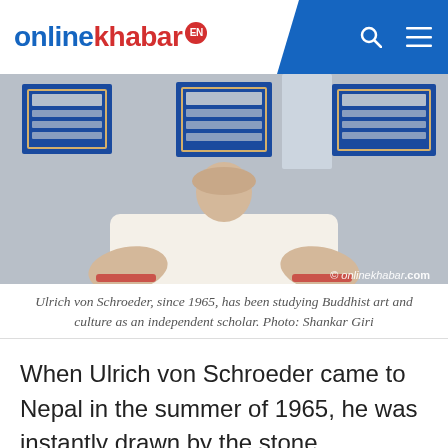onlinekhabar EN
[Figure (photo): A man in a white polo shirt seated indoors, with blue framed plaques visible on the wall behind him. Watermark: © onlinekhabar.com]
Ulrich von Schroeder, since 1965, has been studying Buddhist art and culture as an independent scholar. Photo: Shankar Giri
When Ulrich von Schroeder came to Nepal in the summer of 1965, he was instantly drawn by the stone sculptures in the Kathmandu valley.